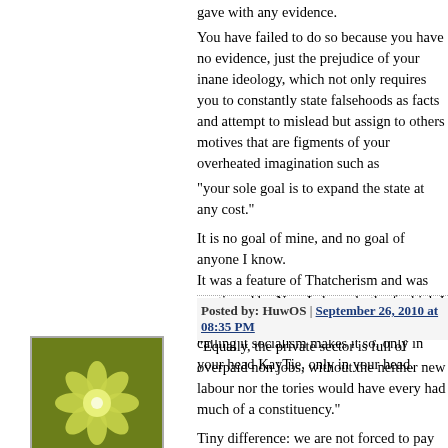gave with any evidence.
You have failed to do so because you have no evidence, just the prejudice of your inane ideology, which not only requires you to constantly state falsehoods as facts and attempt to mislead but assign to others motives that are figments of your overheated imagination such as
"your sole goal is to expand the state at any cost."

It is no goal of mine, and no goal of anyone I know.
It was a feature of Thatcherism and was continued by New Labour, both of which I call right wing, but somehow you feel that calling it socialism makes it so, only in your head KayTie, only in your head.
Posted by: HuwOS | September 26, 2010 at 08:35 PM
[Figure (illustration): User avatar: green/yellow snowflake or mandala pattern on dark olive background]
"Equally, the private sector is full of overpaid non jobs, without the neither new labour nor the tories would have every had much of a constituency."

Tiny difference: we are not forced to pay for them.

And I listed just 8 examples found at the click of a mouse. I've also explained how other jobs could be saved by shutting down the D... But you aren't interested in any of this: your sole goal is to expand